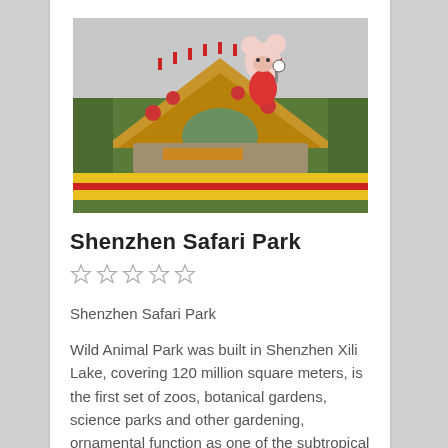[Figure (photo): Photo of Shenzhen Safari Park entrance with decorative archway, colorful floral displays in red and yellow, and a large cartoon mouse mascot statue on top.]
Shenzhen Safari Park
☆☆☆☆☆
Shenzhen Safari Park
Wild Animal Park was built in Shenzhen Xili Lake, covering 120 million square meters, is the first set of zoos, botanical gardens, science parks and other gardening, ornamental function as one of the subtropical environment of new scenic landscape.
Plaza launched...